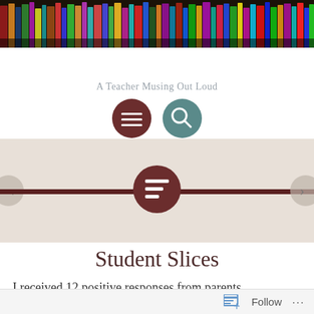[Figure (screenshot): Bookshelf banner image with colorful book spines against dark background]
Elisa Waingort
A Teacher Musing Out Loud
[Figure (infographic): Navigation icons: hamburger menu (dark red circle) and search (teal circle)]
[Figure (infographic): Slider section with dark brown bar and centered menu icon circle, left and right arrow navigation buttons]
Student Slices
I received 12 positive responses from parents
[Figure (infographic): Follow button bar at bottom right with follow icon and ellipsis]